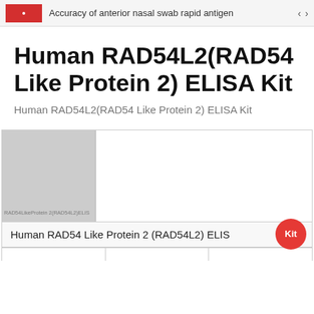Accuracy of anterior nasal swab rapid antigen <  >
Human RAD54L2(RAD54 Like Protein 2) ELISA Kit
Human RAD54L2(RAD54 Like Protein 2) ELISA Kit
[Figure (photo): Product image placeholder showing RAD54LikeProtein2(RAD54L2)ELIS text on a grey background, with white space to the right, and a red circular 'Kit' badge overlay. Caption reads: Human RAD54 Like Protein 2 (RAD54L2) ELISA Kit]
Human RAD54 Like Protein 2 (RAD54L2) ELISA Kit